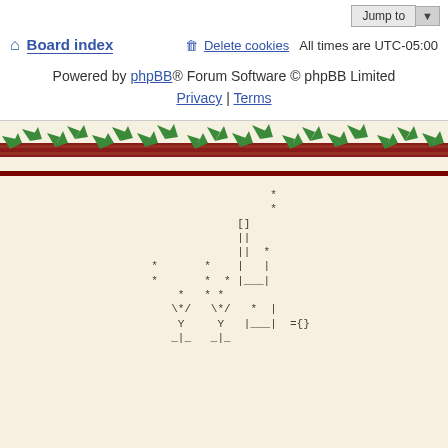Board index | Delete cookies | All times are UTC-05:00
Powered by phpBB® Forum Software © phpBB Limited
Privacy | Terms
[Figure (illustration): Decorative ivy/vine border with green leaves on a dark red horizontal bar]
[Figure (illustration): ASCII art showing cartoon figures: ejm, Y, Y, a tall figure, ={} with asterisks scattered around them]